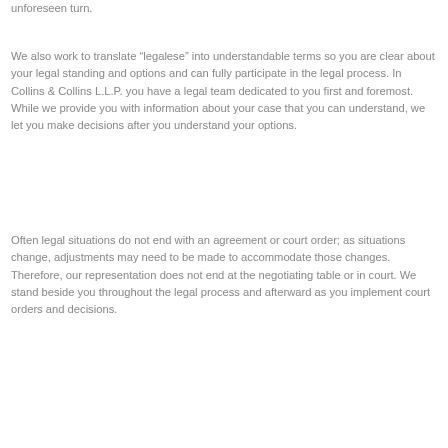unforeseen turn.
We also work to translate “legalese” into understandable terms so you are clear about your legal standing and options and can fully participate in the legal process. In Collins & Collins L.L.P. you have a legal team dedicated to you first and foremost. While we provide you with information about your case that you can understand, we let you make decisions after you understand your options.
Often legal situations do not end with an agreement or court order; as situations change, adjustments may need to be made to accommodate those changes. Therefore, our representation does not end at the negotiating table or in court. We stand beside you throughout the legal process and afterward as you implement court orders and decisions.